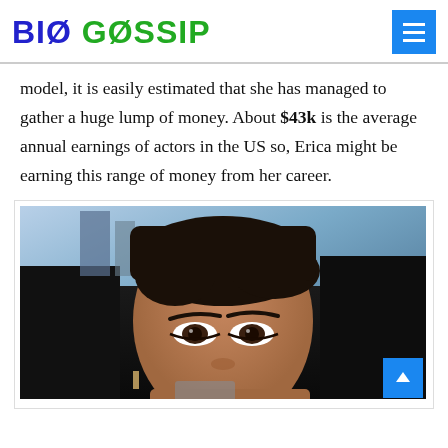BIO GOSSIP
model, it is easily estimated that she has managed to gather a huge lump of money. About $43k is the average annual earnings of actors in the US so, Erica might be earning this range of money from her career.
[Figure (photo): Close-up selfie of a woman in a car, dark hair pulled back, wearing earrings, taken from below showing face and eyes prominently.]